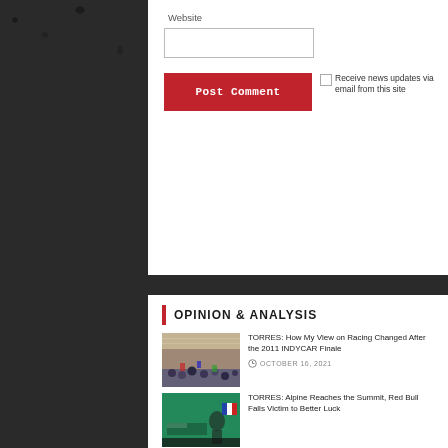Website
Post Comment
Receive news updates via email from this site
OPINION & ANALYSIS
[Figure (photo): Crowd at a racing event stadium]
TORRES: How My View on Racing Changed After the 2011 INDYCAR Finale
OCTOBER 16, 2021
[Figure (photo): Alpine F1 podium celebration with French flag]
TORRES: Alpine Reaches the Summit, Red Bull Falls Victim to Better Luck